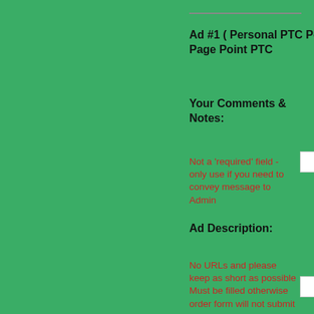Ad #1 ( Personal PTC Point PTC Page Point PTC
Your Comments & Notes:
Not a 'required' field - only use if you need to convey message to Admin
Ad Description:
No URLs and please keep as short as possible Must be filled otherwise order form will not submit